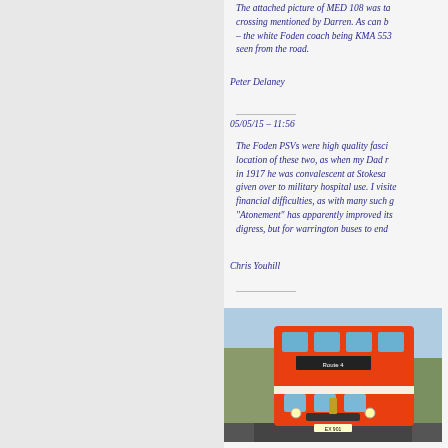The attached picture of MED 108 was ta... crossing mentioned by Darren. As can b... – the white Foden coach being KMA 553... seen from the road.
Peter Delaney
05/05/15 – 11:56
The Foden PSVs were high quality fasci... location of these two, as when my Dad r... in 1917 he was convalescent at Stokesa... given over to military hospital use. I visite... financial difficulties, as with many such g... "Atonement" has apparently improved its... digress, but for warrington buses to end ...
Chris Youhill
[Figure (photo): Red double-decker bus parked outdoors, front view. The bus is bright orange-red with white trim. Trees and a lamppost visible in background.]
Ve